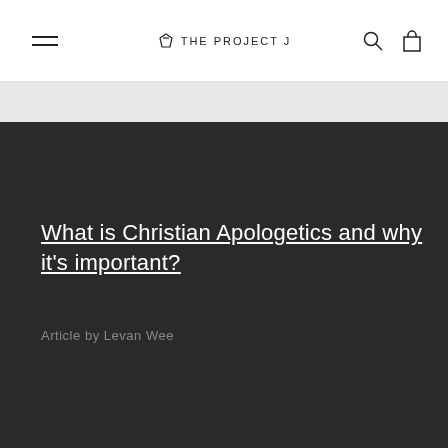THE PROJECT J
What is Christian Apologetics and why it's important?
Article by Levan Wee